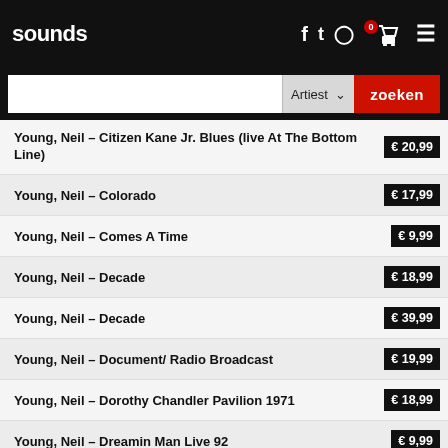sounds
| Album | Price |
| --- | --- |
| Young, Neil - Citizen Kane Jr. Blues (live At The Bottom Line) | € 20,99 |
| Young, Neil - Colorado | € 17,99 |
| Young, Neil - Comes A Time | € 9,99 |
| Young, Neil - Decade | € 18,99 |
| Young, Neil - Decade | € 39,99 |
| Young, Neil - Document/ Radio Broadcast | € 19,99 |
| Young, Neil - Dorothy Chandler Pavilion 1971 | € 18,99 |
| Young, Neil - Dreamin Man Live 92 | € 9,99 |
| Young, Neil - Earth | € 21,99 |
| Young, Neil - Everybody Knows This Is N | € 9,99 |
| Young, Neil - Everybody's Rock | € 29,99 |
| Young, Neil - Fork In The Road + Dvd | € 13,99 |